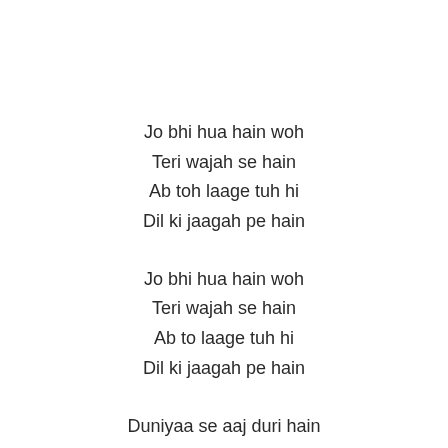Jo bhi hua hain woh
Teri wajah se hain
Ab toh laage tuh hi
Dil ki jaagah pe hain
Jo bhi hua hain woh
Teri wajah se hain
Ab to laage tuh hi
Dil ki jaagah pe hain
Duniyaa se aaj duri hain
Aise mein ye zaaruri hain
Aankhon ko ladne de
Nasha ishq ka